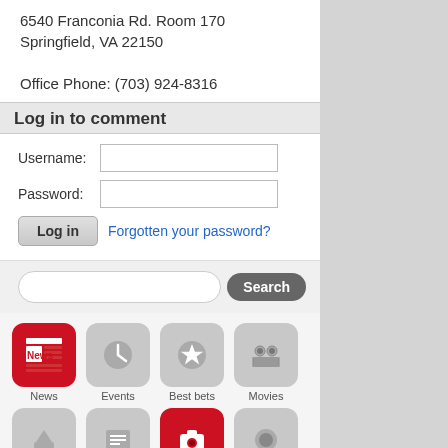6540 Franconia Rd. Room 170 Springfield, VA 22150
Office Phone: (703) 924-8316
Log in to comment
Username: [input field]
Password: [input field]
Log in   Forgotten your password?
Search [search bar]
[Figure (screenshot): Icon grid: News (red), Events, Best bets, Movies icons in first row; partial second row with red camera icon visible]